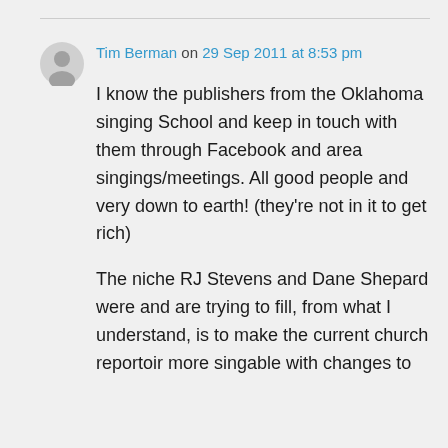Tim Berman on 29 Sep 2011 at 8:53 pm
I know the publishers from the Oklahoma singing School and keep in touch with them through Facebook and area singings/meetings. All good people and very down to earth! (they're not in it to get rich)
The niche RJ Stevens and Dane Shepard were and are trying to fill, from what I understand, is to make the current church reportoir more singable with changes to